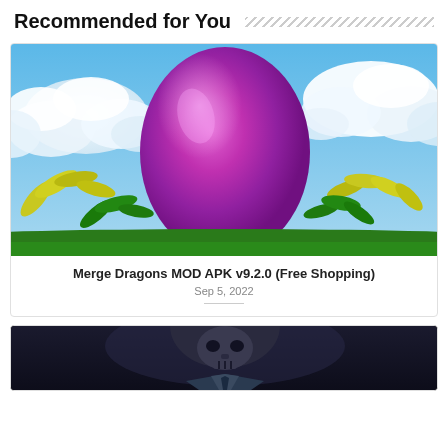Recommended for You
[Figure (illustration): A large purple/magenta egg with a shiny surface, set against a blue sky with white clouds and green and yellow foliage at the bottom — game art for Merge Dragons]
Merge Dragons MOD APK v9.2.0 (Free Shopping)
Sep 5, 2022
[Figure (illustration): A dark-themed image showing a character wearing a skull-like mask/helmet — partial view, cropped at bottom of page]